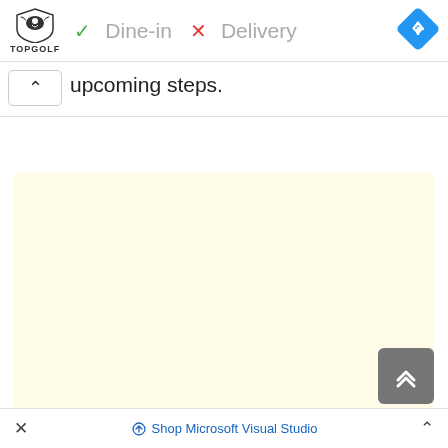[Figure (screenshot): TopGolf logo shield with bird, text TOPGOLF below]
✓ Dine-in  ✗ Delivery
[Figure (illustration): Blue diamond navigation arrow icon pointing right]
▷
✗
upcoming steps.
[Figure (other): Light yellow rectangle advertisement placeholder area]
[Figure (other): Grey scroll-to-top button with double up arrow]
× Shop Microsoft Visual Studio ^